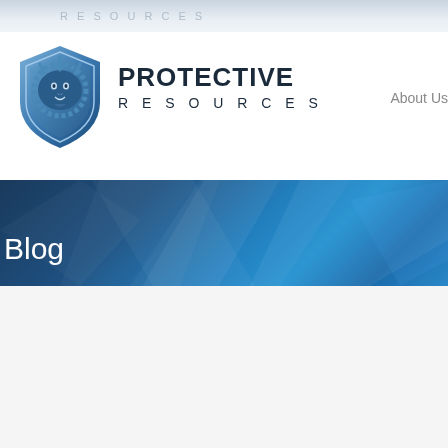RESOURCES
[Figure (logo): Protective Resources lion shield logo with blue shield and lion head emblem]
PROTECTIVE RESOURCES
About Us
Blog
Posts Tagged Home Invasion
Simple Home Security Tips
Posted by Zack Hamm on April 14, 2019
For the most part and except for the rare high net worth executive or celebrity,